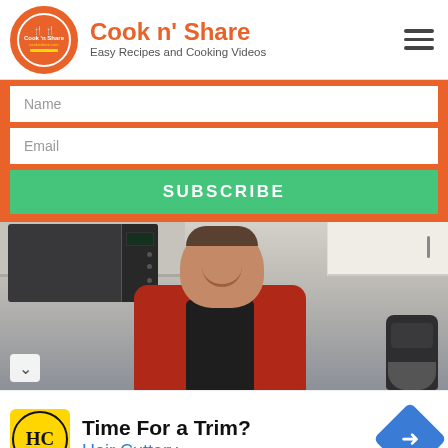Cook n' Share — Easy Recipes and Cooking Videos
Name
Email
SUBSCRIBE
[Figure (photo): Man in red shirt smiling in a kitchen with microwave, cabinets, and a stand mixer visible]
Time For a Trim? Hair Cuttery